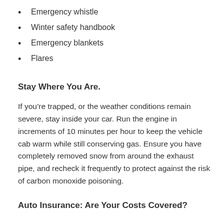Emergency whistle
Winter safety handbook
Emergency blankets
Flares
Stay Where You Are.
If you’re trapped, or the weather conditions remain severe, stay inside your car. Run the engine in increments of 10 minutes per hour to keep the vehicle cab warm while still conserving gas. Ensure you have completely removed snow from around the exhaust pipe, and recheck it frequently to protect against the risk of carbon monoxide poisoning.
Auto Insurance: Are Your Costs Covered?